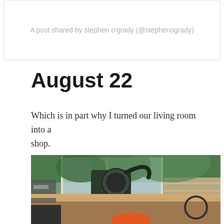A post shared by stephen o'grady (@stephenogrady)
August 22
Which is in part why I turned our living room into a shop.
[Figure (photo): A miter saw and woodworking tools set up in a living room with sliding glass doors showing a deck and trees outside]